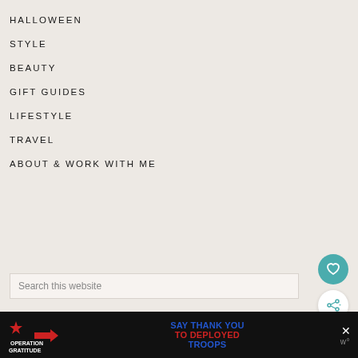HALLOWEEN
STYLE
BEAUTY
GIFT GUIDES
LIFESTYLE
TRAVEL
ABOUT & WORK WITH ME
Search this website
[Figure (other): Heart/favorite button (teal circle with white heart icon)]
[Figure (other): Share button (white circle with teal share icon)]
[Figure (other): Advertisement banner: Operation Gratitude - SAY THANK YOU TO DEPLOYED TROOPS]